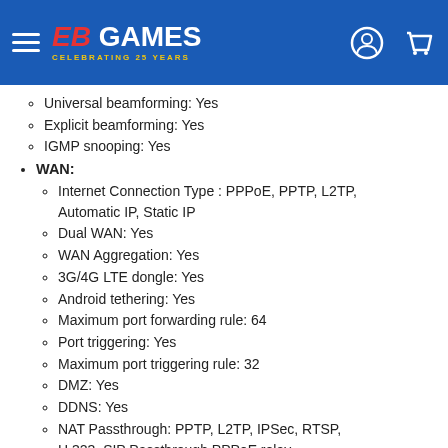EB Games - Celebrating 25 Years
Universal beamforming: Yes
Explicit beamforming: Yes
IGMP snooping: Yes
WAN:
Internet Connection Type : PPPoE, PPTP, L2TP, Automatic IP, Static IP
Dual WAN: Yes
WAN Aggregation: Yes
3G/4G LTE dongle: Yes
Android tethering: Yes
Maximum port forwarding rule: 64
Port triggering: Yes
Maximum port triggering rule: 32
DMZ: Yes
DDNS: Yes
NAT Passthrough: PPTP, L2TP, IPSec, RTSP, H.323, SIP Passthrough,PPPoE relay
NAT Passthrough: PPTP Pass-Through, L2TP Pass-Through, IPSec Pass-Through, RTSP Pass-Through, H.323 Pass-Through, PPPoE relay
LAN:
DHCP Server: Yes
IPTV: Yes